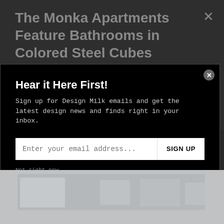The Monka Apartments Feature Bathrooms in Colored Steel Cubes
[Figure (screenshot): Modal newsletter signup popup over a webpage. Background shows article title in gray on dark background. Modal has black background with white title 'Hear it Here First!', descriptive text, email input field, SIGN UP button, and 'Not right now.' dismiss link. Below modal is a partially visible interior photo.]
Hear it Here First!
Sign up for Design Milk emails and get the latest design news and finds right in your inbox.
Enter your email address...
SIGN UP
Not right now.